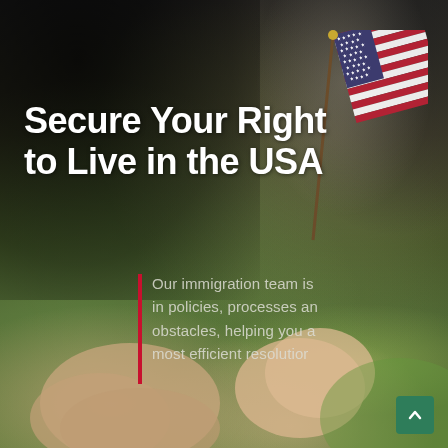[Figure (photo): Background photo of two hands doing a fist bump, with a child's hand holding a small American flag. The photo has a dark overlay on the left side and a blurred green/nature background.]
Secure Your Right to Live in the USA
Our immigration team is in policies, processes an obstacles, helping you a most efficient resolutior